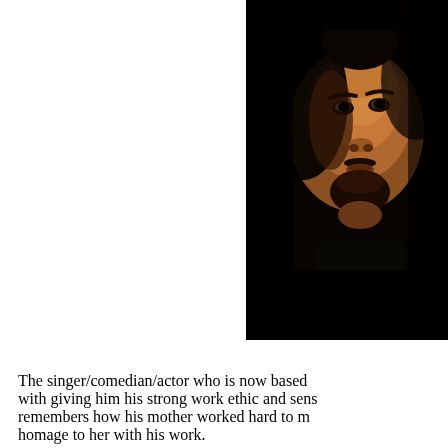[Figure (photo): Close-up portrait of a Black man with a beard and mustache, photographed against a dark/black background. Only the face and top of shoulders visible, with dramatic low-key lighting.]
The singer/comedian/actor who is now based with giving him his strong work ethic and sens remembers how his mother worked hard to m homage to her with his work.